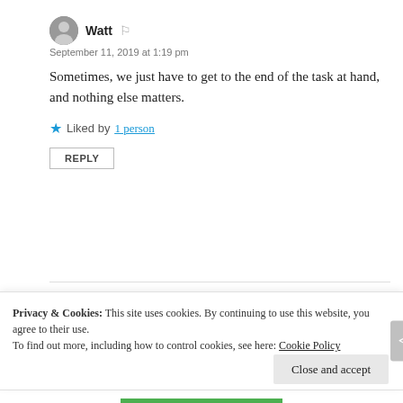Watt
September 11, 2019 at 1:19 pm
Sometimes, we just have to get to the end of the task at hand, and nothing else matters.
★ Liked by 1 person
REPLY
Silent Hour
September 12, 2019 at 8:10 am
Privacy & Cookies: This site uses cookies. By continuing to use this website, you agree to their use. To find out more, including how to control cookies, see here: Cookie Policy
Close and accept